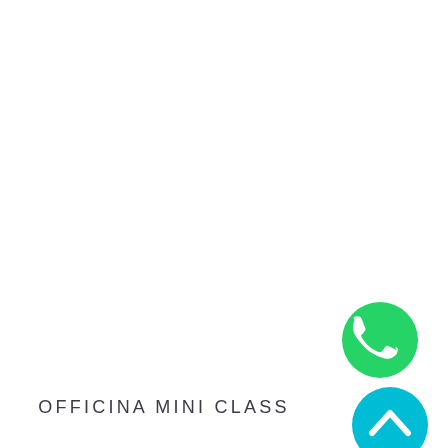OFFICINA MINI CLASS
[Figure (logo): WhatsApp logo - green circle with white phone handset icon]
[Figure (logo): Cyan/turquoise circle with white upward-pointing chevron arrow icon]